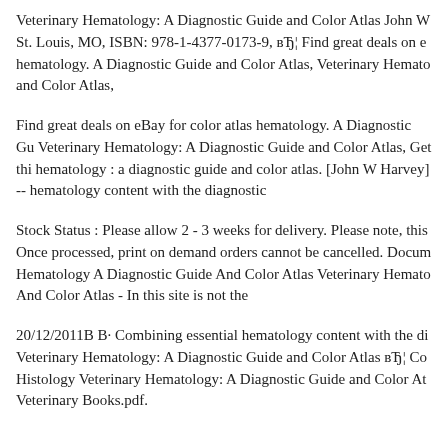Veterinary Hematology: A Diagnostic Guide and Color Atlas John W St. Louis, MO, ISBN: 978-1-4377-0173-9, вЂ¦ Find great deals on e hematology. A Diagnostic Guide and Color Atlas, Veterinary Hemato and Color Atlas,
Find great deals on eBay for color atlas hematology. A Diagnostic Gu Veterinary Hematology: A Diagnostic Guide and Color Atlas, Get thi hematology : a diagnostic guide and color atlas. [John W Harvey] -- hematology content with the diagnostic
Stock Status : Please allow 2 - 3 weeks for delivery. Please note, this Once processed, print on demand orders cannot be cancelled. Docum Hematology A Diagnostic Guide And Color Atlas Veterinary Hemato And Color Atlas - In this site is not the
20/12/2011B B· Combining essential hematology content with the di Veterinary Hematology: A Diagnostic Guide and Color Atlas вЂ¦ Co Histology Veterinary Hematology: A Diagnostic Guide and Color At Veterinary Books.pdf.